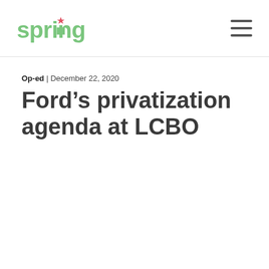spring
Op-ed | December 22, 2020
Ford’s privatization agenda at LCBO